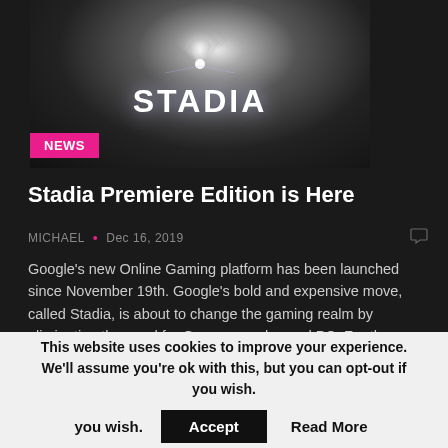[Figure (screenshot): Dark Stadia gaming platform logo image with white STADIA text and wifi-like icon above it against dark radial gradient background, with a pink NEWS badge in the lower-left corner]
Stadia Premiere Edition is Here
MICHAEL • Dec 16, 2019
Google's new Online Gaming platform has been launched since November 19th. Google's bold and expensive move, called Stadia, is about to change the gaming realm by eliminating the need for Game consoles and PC. For those who don't know...
[Figure (screenshot): Dark blue tech background image with green text 'LL PLANS ON SALE' and white large text 'VPN From' partially visible, with green bar charts on right side]
This website uses cookies to improve your experience. We'll assume you're ok with this, but you can opt-out if you wish. Accept Read More